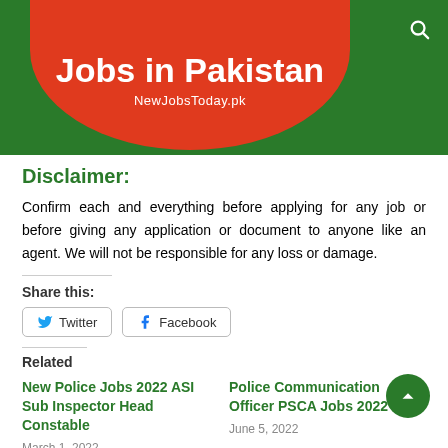Jobs in Pakistan
NewJobsToday.pk
Disclaimer:
Confirm each and everything before applying for any job or before giving any application or document to anyone like an agent. We will not be responsible for any loss or damage.
Share this:
Twitter  Facebook
Related
New Police Jobs 2022 ASI Sub Inspector Head Constable
March 1, 2022
Police Communication Officer PSCA Jobs 2022
June 5, 2022